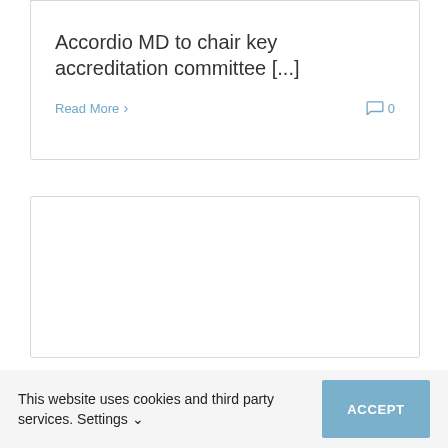Accordio MD to chair key accreditation committee [...]
Read More
0
This website uses cookies and third party services. Settings ∨